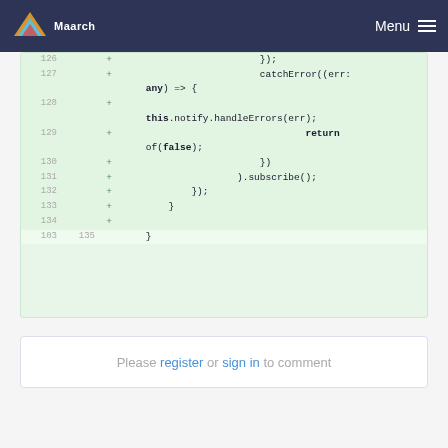Maarch Menu
[Figure (screenshot): Code diff view showing lines 126-135 of a TypeScript file. Lines 127-134 are additions (marked with +) showing catchError handler with err:any parameter, this.notify.handleErrors(err), return of(false), }).subscribe(), }); and } closing braces. Line 103/135 shows the final closing brace }.]
Please register or sign in to comment